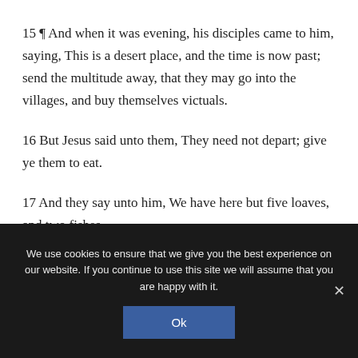15 ¶ And when it was evening, his disciples came to him, saying, This is a desert place, and the time is now past; send the multitude away, that they may go into the villages, and buy themselves victuals.
16 But Jesus said unto them, They need not depart; give ye them to eat.
17 And they say unto him, We have here but five loaves, and two fishes.
We use cookies to ensure that we give you the best experience on our website. If you continue to use this site we will assume that you are happy with it.